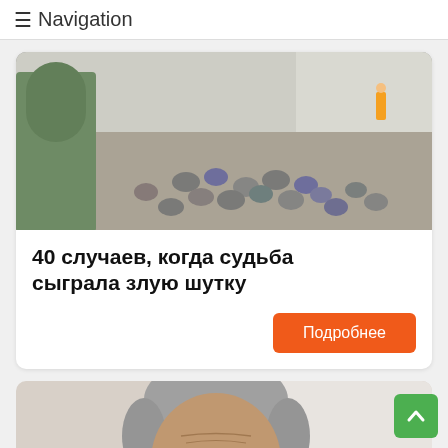≡ Navigation
[Figure (photo): Aerial view of construction site with barrels and debris on ground, trees visible in background]
40 случаев, когда судьба сыграла злую шутку
Подробнее
[Figure (photo): Close-up portrait of elderly man with grey hair, wrinkled face, wearing dark clothing, light background]